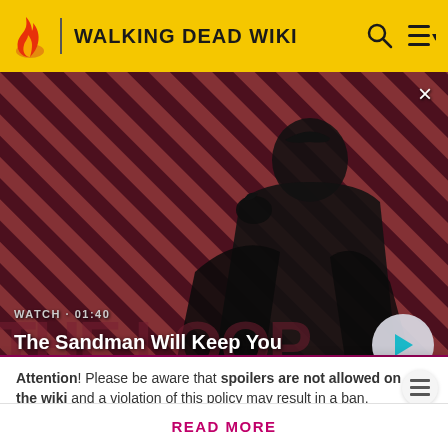WALKING DEAD WIKI
[Figure (screenshot): Video thumbnail showing a dark figure with a raven on their shoulder against a red and dark diagonal striped background. Overlay text reads WATCH · 01:40 and The Sandman Will Keep You Awake - The Loop. A play button appears bottom right. A close X button appears top right.]
Killed By
Church Group/Walkers (Assumed)
Attention! Please be aware that spoilers are not allowed on the wiki and a violation of this policy may result in a ban.
READ MORE